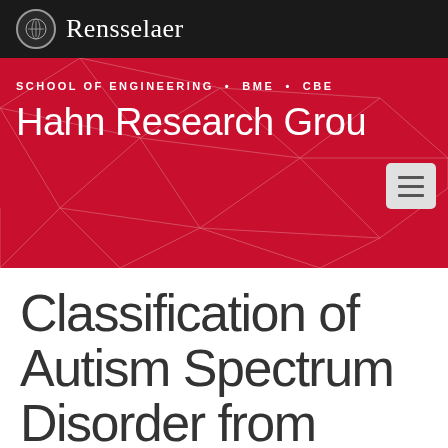[Figure (logo): Rensselaer Polytechnic Institute logo and wordmark on black header bar]
SCHOOL OF ENGINEERING • BME • CBE
Hahn Research Group
Classification of Autism Spectrum Disorder from Blood Metabolites: